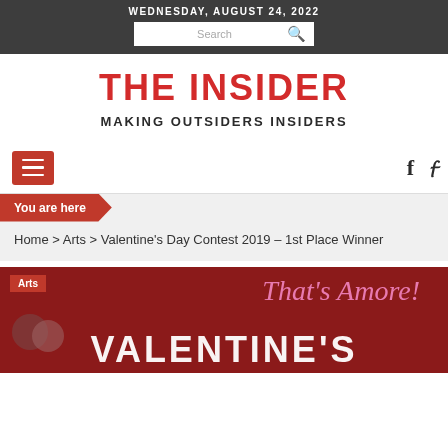WEDNESDAY, AUGUST 24, 2022
THE INSIDER
MAKING OUTSIDERS INSIDERS
You are here
Home > Arts > Valentine's Day Contest 2019 – 1st Place Winner
[Figure (illustration): Dark red promotional banner with pink cursive 'That's Amore!' text, heart shapes, and large white 'VALENTINE'S' text. Arts category tag in top left.]